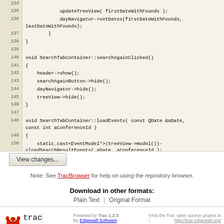[Figure (screenshot): Code viewer showing C++ source lines 134-152 with line numbers on left and code on right, beige/tan background]
View changes...
Note: See TracBrowser for help on using the repository browser.
Download in other formats:
Plain Text | Original Format
Powered by Trac 1.2.3 By Edgewall Software. Visit the Trac open source project at http://trac.edgewall.org/